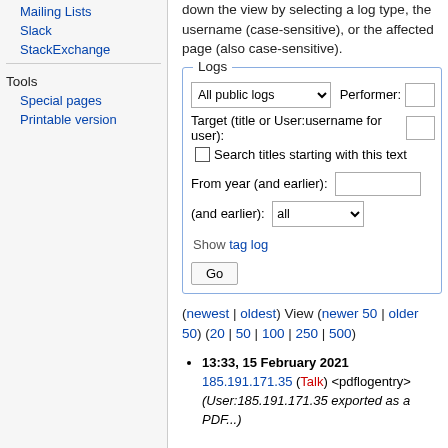Mailing Lists
Slack
StackExchange
Tools
Special pages
Printable version
down the view by selecting a log type, the username (case-sensitive), or the affected page (also case-sensitive).
[Figure (screenshot): Logs form with dropdown 'All public logs', Performer field, Target field, Search titles checkbox, From year and month selectors, Show tag log link, and Go button.]
(newest | oldest) View (newer 50 | older 50) (20 | 50 | 100 | 250 | 500)
13:33, 15 February 2021 185.191.171.35 (Talk) <pdflogentry> (User:185.191.171.35 exported as a PDF...)